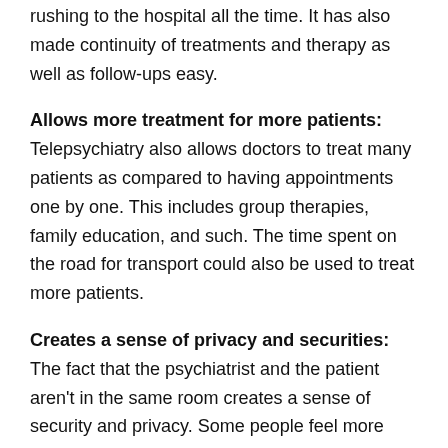rushing to the hospital all the time. It has also made continuity of treatments and therapy as well as follow-ups easy.
Allows more treatment for more patients: Telepsychiatry also allows doctors to treat many patients as compared to having appointments one by one. This includes group therapies, family education, and such. The time spent on the road for transport could also be used to treat more patients.
Creates a sense of privacy and securities: The fact that the psychiatrist and the patient aren't in the same room creates a sense of security and privacy. Some people feel more secure and safe while in the comfort of their homes. This allows them to open up more hence better treatment.
Can be used in different settings: Telepsychiatry allows you to hold your sessions and appointments in different settings.